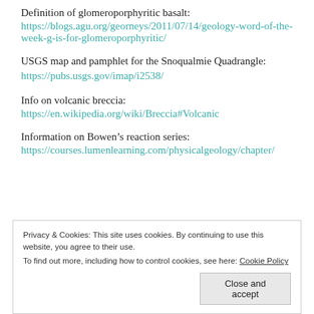Definition of glomeroporphyritic basalt:
https://blogs.agu.org/georneys/2011/07/14/geology-word-of-the-week-g-is-for-glomeroporphyritic/
USGS map and pamphlet for the Snoqualmie Quadrangle: https://pubs.usgs.gov/imap/i2538/
Info on volcanic breccia:
https://en.wikipedia.org/wiki/Breccia#Volcanic
Information on Bowen’s reaction series:
https://courses.lumenlearning.com/physicalgeology/chapter/
Privacy & Cookies: This site uses cookies. By continuing to use this website, you agree to their use.
To find out more, including how to control cookies, see here: Cookie Policy
Close and accept